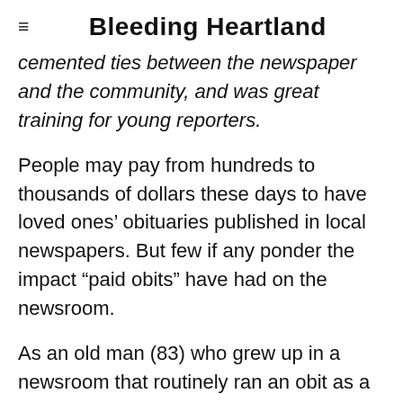☰  Bleeding Heartland
cemented ties between the newspaper and the community, and was great training for young reporters.
People may pay from hundreds to thousands of dollars these days to have loved ones' obituaries published in local newspapers. But few if any ponder the impact “paid obits” have had on the newsroom.
As an old man (83) who grew up in a newsroom that routinely ran an obit as a